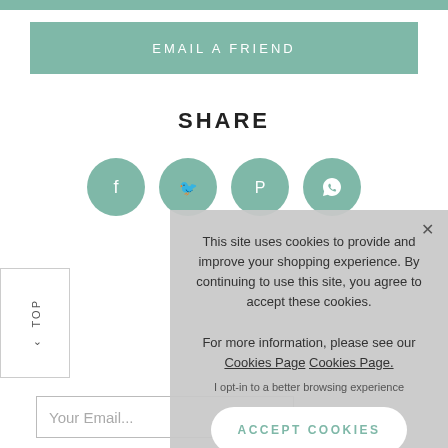[Figure (screenshot): Teal 'EMAIL A FRIEND' button bar]
SHARE
[Figure (infographic): Four teal social sharing icon circles: Facebook, Twitter, Pinterest, WhatsApp]
[Figure (screenshot): Cookie consent overlay popup with close X, cookie usage text, Cookies Page links, opt-in text, and ACCEPT COOKIES button]
[Figure (screenshot): TOP sidebar button with upward arrow]
[Figure (screenshot): Your Email... input field]